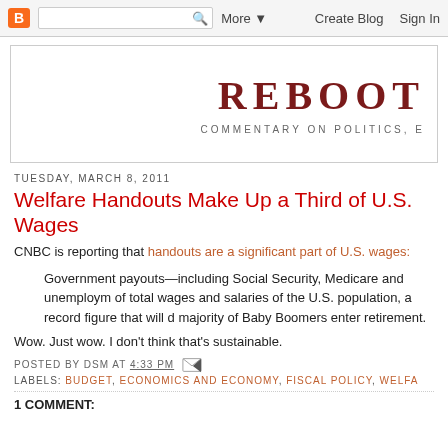B | [search] More ▼  Create Blog  Sign In
REBOOT
COMMENTARY ON POLITICS, E
TUESDAY, MARCH 8, 2011
Welfare Handouts Make Up a Third of U.S. Wages
CNBC is reporting that handouts are a significant part of U.S. wages:
Government payouts—including Social Security, Medicare and unemploym of total wages and salaries of the U.S. population, a record figure that will d majority of Baby Boomers enter retirement.
Wow. Just wow. I don't think that's sustainable.
POSTED BY DSM AT 4:33 PM
LABELS: BUDGET, ECONOMICS AND ECONOMY, FISCAL POLICY, WELFA
1 COMMENT: